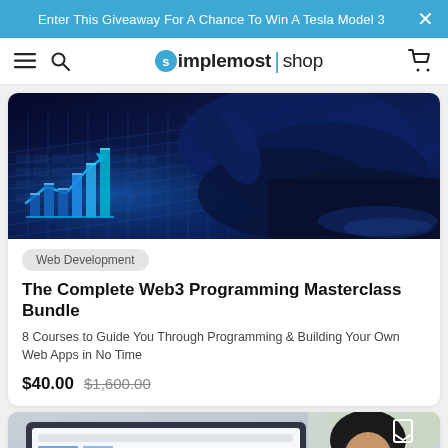Enter This Giveaway For A Chance To Win A Tesla Model 3
simplemost | shop
[Figure (photo): Close-up photo of hands on a glowing blue keyboard with holographic bar chart display, dark blue tech background]
Web Development
The Complete Web3 Programming Masterclass Bundle
8 Courses to Guide You Through Programming & Building Your Own Web Apps in No Time
$40.00  $1,600.00
[Figure (photo): Partial view of a person looking at a laptop screen with charts, second product card partially visible]